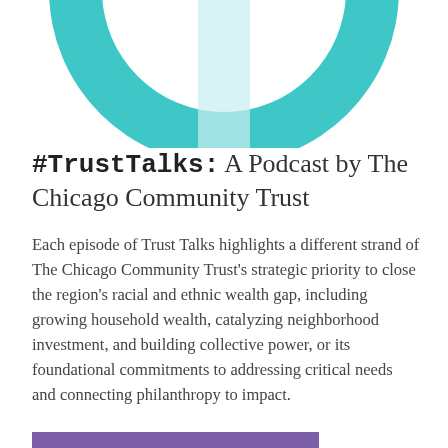[Figure (illustration): Partial teal/turquoise circle graphic visible at the top of the page, cropped at the upper edge]
#TrustTalks: A Podcast by The Chicago Community Trust
Each episode of Trust Talks highlights a different strand of The Chicago Community Trust's strategic priority to close the region's racial and ethnic wealth gap, including growing household wealth, catalyzing neighborhood investment, and building collective power, or its foundational commitments to addressing critical needs and connecting philanthropy to impact.
BROWSE ALL EPISODES